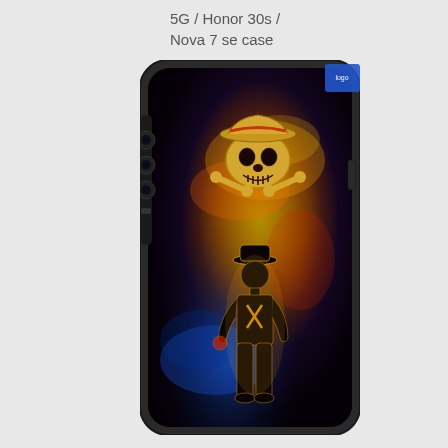5G / Honor 30s / Nova 7 se case
[Figure (photo): Product photo of a smartphone case for Honor 30s / Nova 7 se 5G, featuring a One Piece anime artwork with Monkey D. Luffy silhouette standing against a colorful cosmic background with the Straw Hat Pirates skull logo above. The case is shown fitted on a smartphone with visible camera lenses on the left side.]